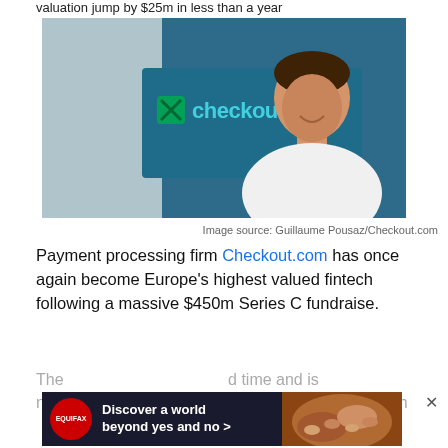valuation jump by $25m in less than a year
[Figure (photo): Man in white shirt smiling in front of a dark teal background with the Checkout.com logo displayed behind him. Photo credit: Guillaume Pousaz/Checkout.com]
Image source: Guillaume Pousaz/Checkout.com
Payment processing firm Checkout.com has once again become Europe's highest valued fintech following a massive $450m Series C fundraise.
The ... d time and is n ... e next highest valued fintech ...
[Figure (other): Equifax advertisement banner: 'Discover a world beyond yes and no >' with Equifax logo circle in red and background image of hands holding something]